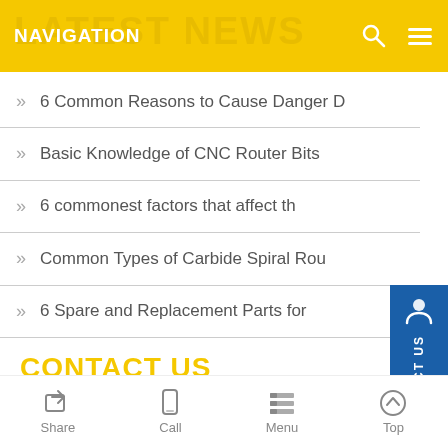NAVIGATION
6 Common Reasons to Cause Danger D
Basic Knowledge of CNC Router Bits
6 commonest factors that affect th
Common Types of Carbide Spiral Rou
6 Spare and Replacement Parts for
CONTACT US
Contact: RicoCNC
Share   Call   Menu   Top